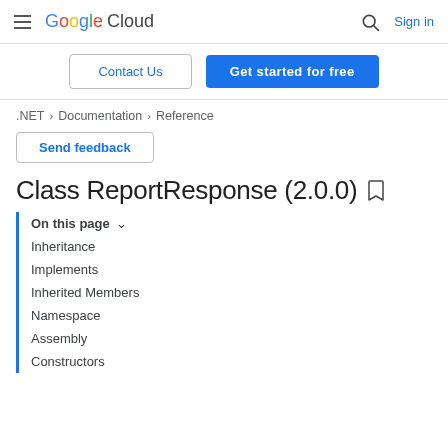Google Cloud  Sign in
Contact Us | Get started for free
.NET > Documentation > Reference
Send feedback
Class ReportResponse (2.0.0)
On this page
Inheritance
Implements
Inherited Members
Namespace
Assembly
Constructors